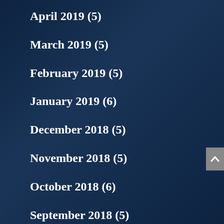April 2019 (5)
March 2019 (5)
February 2019 (5)
January 2019 (6)
December 2018 (5)
November 2018 (5)
October 2018 (6)
September 2018 (5)
August 2018 (5)
July 2018 (6)